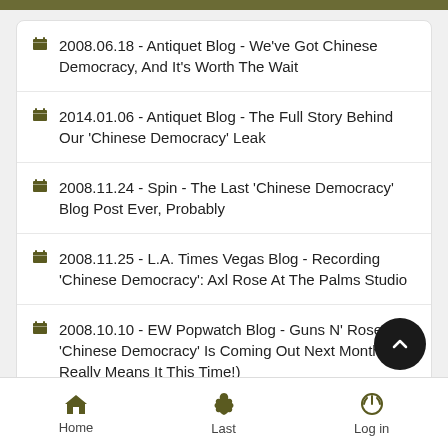2008.06.18 - Antiquet Blog - We've Got Chinese Democracy, And It's Worth The Wait
2014.01.06 - Antiquet Blog - The Full Story Behind Our 'Chinese Democracy' Leak
2008.11.24 - Spin - The Last 'Chinese Democracy' Blog Post Ever, Probably
2008.11.25 - L.A. Times Vegas Blog - Recording 'Chinese Democracy': Axl Rose At The Palms Studio
2008.10.10 - EW Popwatch Blog - Guns N' Roses' 'Chinese Democracy' Is Coming Out Next Month (Axl Really Means It This Time!)
Home  Last  Log in